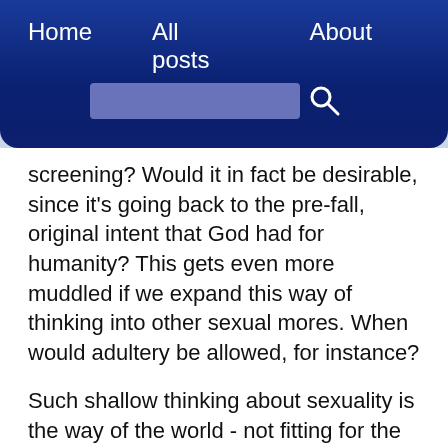Home   All posts   About
screening? Would it in fact be desirable, since it's going back to the pre-fall, original intent that God had for humanity? This gets even more muddled if we expand this way of thinking into other sexual mores. When would adultery be allowed, for instance?
Such shallow thinking about sexuality is the way of the world - not fitting for the body of Christ. Ironically, evolution is one of the best tools we have against the "anything goes" ideas of human mating that are prevalent in the world. While evolution becomes monstrous when it's taken as an idol and the ultimate arbiter of morality, when it is properly understood as the tool that God used to create us